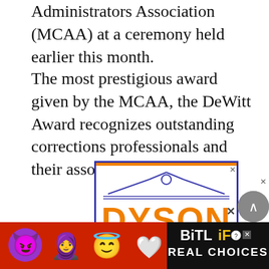Administrators Association (MCAA) at a ceremony held earlier this month.
The most prestigious award given by the MCAA, the DeWitt Award recognizes outstanding corrections professionals and their associates.
[Figure (logo): Dyson Building Center advertisement with orange DYSON text and blue border and roofline logo graphic]
[Figure (infographic): BitLife Real Choices mobile game advertisement with emoji characters on red background and black branding panel]